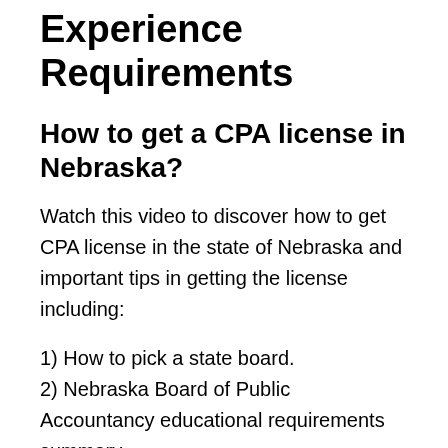Experience Requirements
How to get a CPA license in Nebraska?
Watch this video to discover how to get CPA license in the state of Nebraska and important tips in getting the license including:
1) How to pick a state board.
2) Nebraska Board of Public Accountancy educational requirements summary.
3) Experience requirements summary (CPA